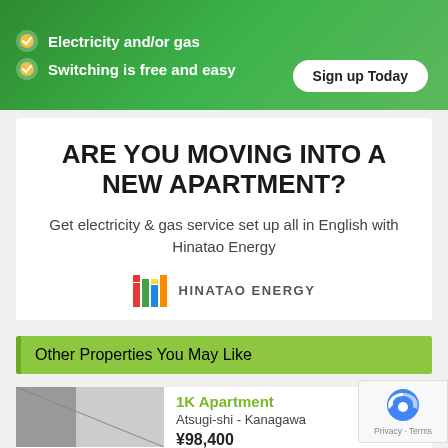[Figure (screenshot): Green banner with checkmark icons, 'Electricity and/or gas' and 'Switching is free and easy' text, with a 'Sign up Today' button]
ARE YOU MOVING INTO A NEW APARTMENT?
Get electricity & gas service set up all in English with Hinatao Energy
[Figure (logo): Hinatao Energy logo with colored bar icon and text 'HINATAO ENERGY']
LEARN MORE
Other Properties You May Like
1K Apartment
Atsugi-shi - Kanagawa
¥98,400
[Figure (photo): Apartment interior photo thumbnail]